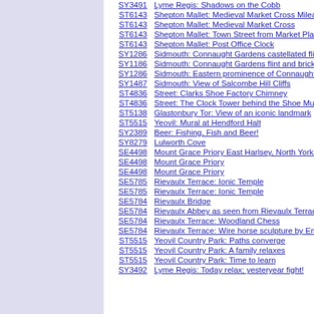SY3491 | Lyme Regis: Shadows on the Cobb
ST6143 | Shepton Mallet: Medieval Market Cross Mileage Si...
ST6143 | Shepton Mallet: Medieval Market Cross
ST6143 | Shepton Mallet: Town Street from Market Place
ST6143 | Shepton Mallet: Post Office Clock
SY1286 | Sidmouth: Connaught Gardens castellated flint cloc...
SY1186 | Sidmouth: Connaught Gardens flint and brick cliff b...
SY1286 | Sidmouth: Eastern prominence of Connaught Gard...
SY1487 | Sidmouth: View of Salcombe Hill Cliffs
ST4836 | Street: Clarks Shoe Factory Chimney
ST4836 | Street: The Clock Tower behind the Shoe Museum
ST5138 | Glastonbury Tor: View of an iconic landmark
ST5515 | Yeovil: Mural at Hendford Halt
SY2389 | Beer: Fishing, Fish and Beer!
SY8279 | Lulworth Cove
SE4498 | Mount Grace Priory East Harlsey, North Yorkshire
SE4498 | Mount Grace Priory
SE4498 | Mount Grace Priory
SE5785 | Rievaulx Terrace: Ionic Temple
SE5785 | Rievaulx Terrace: Ionic Temple
SE5784 | Rievaulx Bridge
SE5784 | Rievaulx Abbey as seen from Rievaulx Terrace
SE5784 | Rievaulx Terrace: Woodland Chess
SE5784 | Rievaulx Terrace: Wire horse sculpture by Emma S...
ST5515 | Yeovil Country Park: Paths converge
ST5515 | Yeovil Country Park: A family relaxes
ST5515 | Yeovil Country Park: Time to learn
SY3492 | Lyme Regis: Today relax; yesteryear fight!